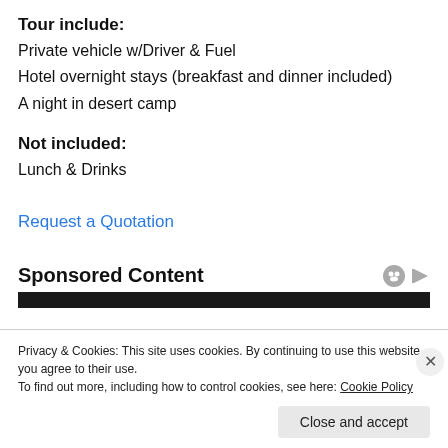Tour include:
Private vehicle w/Driver & Fuel
Hotel overnight stays (breakfast and dinner included)
A night in desert camp
Not included:
Lunch & Drinks
Request a Quotation
Sponsored Content
Privacy & Cookies: This site uses cookies. By continuing to use this website, you agree to their use.
To find out more, including how to control cookies, see here: Cookie Policy
Close and accept